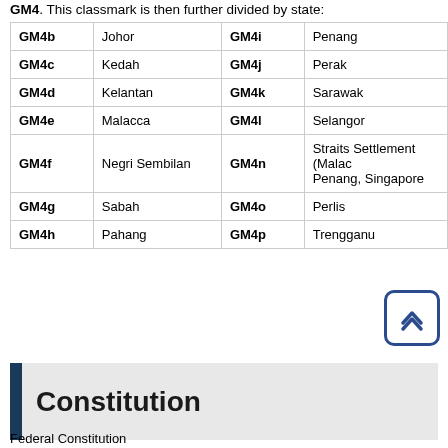GM4. This classmark is then further divided by state:
| GM4b | Johor | GM4i | Penang |
| GM4c | Kedah | GM4j | Perak |
| GM4d | Kelantan | GM4k | Sarawak |
| GM4e | Malacca | GM4l | Selangor |
| GM4f | Negri Sembilan | GM4n | Straits Settlement (Malacca, Penang, Singapore) |
| GM4g | Sabah | GM4o | Perlis |
| GM4h | Pahang | GM4p | Trengganu |
Constitution
Federal Constitution